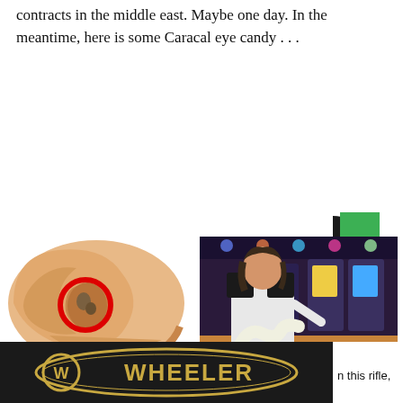contracts in the middle east. Maybe one day. In the meantime, here is some Caracal eye candy . . .
[Figure (donut-chart): Partial donut/pie chart with green and dark gray segments, logo-style graphic]
[Figure (illustration): Medical illustration of inner ear anatomy with red circle highlighting ossicles]
New Hearing Discovery is Leaving Doctors Speechless
[Figure (photo): Woman in casino sitting among slot machines]
Casinos Don't Want You to Do This; but They Can't Stop You
[Figure (logo): Wheeler logo on dark background banner with partial text 'n this rifle,']